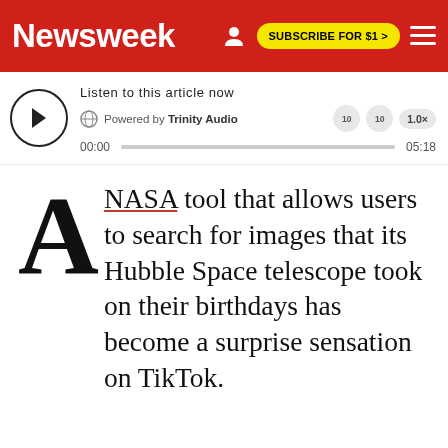Newsweek — SUBSCRIBE FOR $1 >
[Figure (screenshot): Audio player widget: Listen to this article now, Powered by Trinity Audio, 00:00 / 05:18]
A NASA tool that allows users to search for images that its Hubble Space telescope took on their birthdays has become a surprise sensation on TikTok.